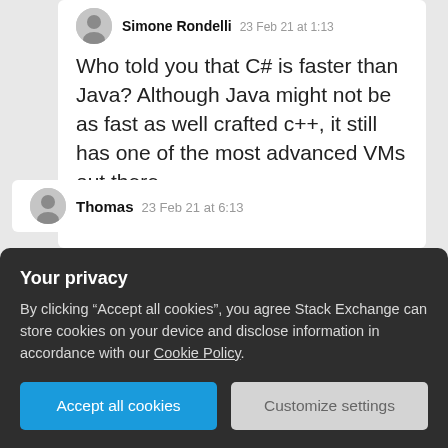Simone Rondelli  23 Feb 21 at 1:13
Who told you that C# is faster than Java? Although Java might not be as fast as well crafted c++, it still has one of the most advanced VMs out there.
Reply
Thomas  23 Feb 21 at 6:13
Your privacy
By clicking “Accept all cookies”, you agree Stack Exchange can store cookies on your device and disclose information in accordance with our Cookie Policy.
Accept all cookies
Customize settings